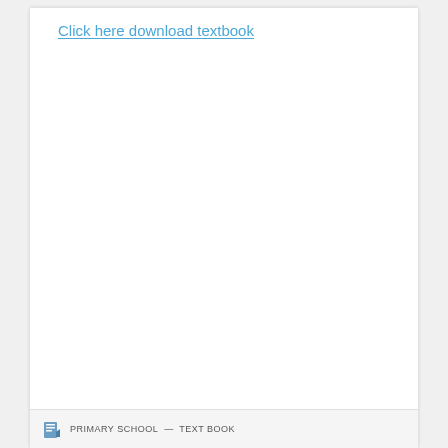Click here download textbook
PRIMARY SCHOOL   Text Book